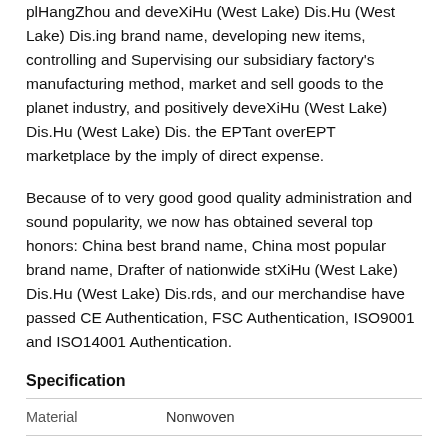plHangZhou and deveXiHu (West Lake) Dis.Hu (West Lake) Dis.ing brand name, developing new items, controlling and Supervising our subsidiary factory's manufacturing method, market and sell goods to the planet industry, and positively deveXiHu (West Lake) Dis.Hu (West Lake) Dis. the EPTant overEPT marketplace by the imply of direct expense.
Because of to very good good quality administration and sound popularity, we now has obtained several top honors: China best brand name, China most popular brand name, Drafter of nationwide stXiHu (West Lake) Dis.Hu (West Lake) Dis.rds, and our merchandise have passed CE Authentication, FSC Authentication, ISO9001 and ISO14001 Authentication.
Specification
| Material | Nonwoven |
| --- | --- |
| Fashion | present day, simple |
| Characteristic | Water resistant antifouling, easy to cleanse, unfading |